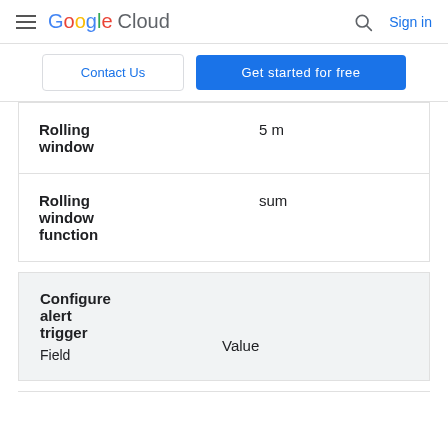Google Cloud  Sign in
Contact Us | Get started for free
| Field | Value |
| --- | --- |
| Rolling window | 5 m |
| Rolling window function | sum |
| Field | Value |
| --- | --- |
| Configure alert trigger Field | Value |